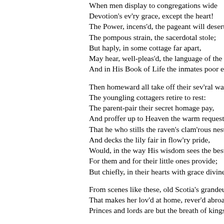When men display to congregations wide
Devotion's ev'ry grace, except the heart!
The Power, incens'd, the pageant will desert
The pompous strain, the sacerdotal stole;
But haply, in some cottage far apart,
May hear, well-pleas'd, the language of the s
And in His Book of Life the inmates poor e

Then homeward all take off their sev'ral way
The youngling cottagers retire to rest:
The parent-pair their secret homage pay,
And proffer up to Heaven the warm request,
That he who stills the raven's clam'rous nest
And decks the lily fair in flow'ry pride,
Would, in the way His wisdom sees the best
For them and for their little ones provide;
But chiefly, in their hearts with grace divine

From scenes like these, old Scotia's grandeu
That makes her lov'd at home, rever'd abroa
Princes and lords are but the breath of kings